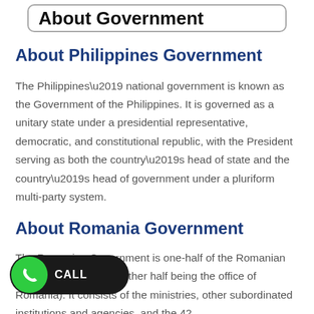About Government
About Philippines Government
The Philippines’ national government is known as the Government of the Philippines. It is governed as a unitary state under a presidential representative, democratic, and constitutional republic, with the President serving as both the country’s head of state and the country’s head of government under a pluriform multi-party system.
About Romania Government
The Romanian Government is one-half of the Romanian executive branch (the other half being the office of Romania). It consists of the ministries, other subordinated institutions and agencies, and the 42